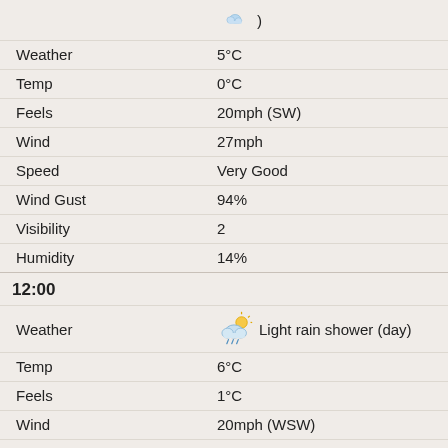| Field | Value |
| --- | --- |
| Weather | (icon) Light rain shower (day) |
| Temp | 5°C |
| Feels | 0°C |
| Wind | 20mph (SW) |
| Speed | 27mph |
| Wind Gust | Very Good |
| Visibility | 94% |
| Humidity | 2 |
|  | 14% |
12:00
| Field | Value |
| --- | --- |
| Weather | (icon) Light rain shower (day) |
| Temp | 6°C |
| Feels | 1°C |
| Wind | 20mph (WSW) |
| Speed | 27mph |
| Wind Gust | Very Good |
| Visibility | 84% |
| Humidity | 3 |
|  | 45% |
15:00
| Field | Value |
| --- | --- |
| Weather | (icon) Light rain shower (day) |
| Temp | 6°C |
| Feels | 1°C |
| Wind | 20mph (WSW) |
| Speed | 27mph |